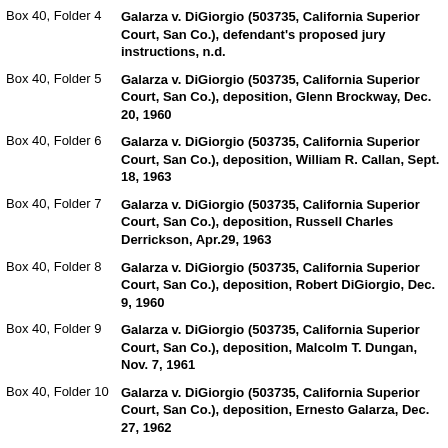Box 40, Folder 4 — Galarza v. DiGiorgio (503735, California Superior Court, San Co.), defendant's proposed jury instructions, n.d.
Box 40, Folder 5 — Galarza v. DiGiorgio (503735, California Superior Court, San Co.), deposition, Glenn Brockway, Dec. 20, 1960
Box 40, Folder 6 — Galarza v. DiGiorgio (503735, California Superior Court, San Co.), deposition, William R. Callan, Sept. 18, 1963
Box 40, Folder 7 — Galarza v. DiGiorgio (503735, California Superior Court, San Co.), deposition, Russell Charles Derrickson, Apr.29, 1963
Box 40, Folder 8 — Galarza v. DiGiorgio (503735, California Superior Court, San Co.), deposition, Robert DiGiorgio, Dec. 9, 1960
Box 40, Folder 9 — Galarza v. DiGiorgio (503735, California Superior Court, San Co.), deposition, Malcolm T. Dungan, Nov. 7, 1961
Box 40, Folder 10 — Galarza v. DiGiorgio (503735, California Superior Court, San Co.), deposition, Ernesto Galarza, Dec. 27, 1962
Box 40, Folder 11 — Galarza v. DiGiorgio (503735, California Superior Court, San Co.), deposition, Edward F. Hayes, Jan. 22, 1963
Box 40, Folder 12 — Galarza v. DiGiorgio (503735, California Superior Court, San Co.), deposition, Louis E. Krainock, Apr. 19, 1963